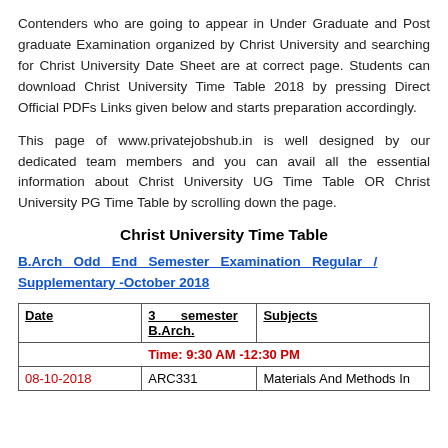Contenders who are going to appear in Under Graduate and Post graduate Examination organized by Christ University and searching for Christ University Date Sheet are at correct page. Students can download Christ University Time Table 2018 by pressing Direct Official PDFs Links given below and starts preparation accordingly.
This page of www.privatejobshub.in is well designed by our dedicated team members and you can avail all the essential information about Christ University UG Time Table OR Christ University PG Time Table by scrolling down the page.
Christ University Time Table
B.Arch Odd End Semester Examination Regular / Supplementary -October 2018
| Date | 3 semester B.Arch. | Subjects |
| --- | --- | --- |
|  | Time: 9:30 AM -12:30 PM |  |
| 08-10-2018 | ARC331 | Materials And Methods In |